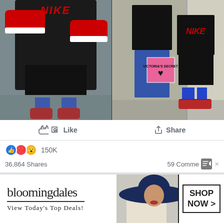[Figure (photo): Two photos side by side: left photo shows a person in a black Nike t-shirt holding red Nike shoes, wearing blue socks and red sneakers on a gray floor. Right photo shows two people posing together, one wearing a black Nike t-shirt and holding a Victoria's Secret bag.]
Like   Share
150K
36,864 Shares   59 Comments
[Figure (screenshot): Bloomingdales advertisement banner: 'bloomingdales / View Today's Top Deals!' with a woman wearing a large navy hat, and a 'SHOP NOW >' button.]